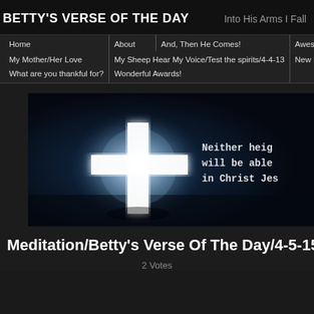BETTY'S VERSE OF THE DAY   Into His Arms I Fall
Home | About | And, Then He Comes! | Awesome Sight! | Betty's Thought's/Recip... | My Mother/Her Love | My Sheep Hear My Voice/Test the spirits/4-4-13 | New Ebook | R... | What are you thankful for? | Wonderful Awards!
[Figure (photo): Banner image showing a glowing white cross against a dark blue dramatic sky background, with partial text reading 'Neither heig... will be able... in Christ Jes...']
Meditation/Betty's Verse Of The Day/4-5-15
2 Votes